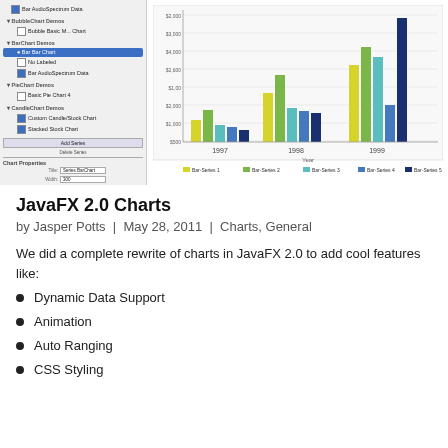[Figure (screenshot): JavaFX chart builder UI screenshot showing a tree panel on the left with chart demos (BubbleChart Demos, BarChart Demos with Bar Bar Chart selected highlighted in blue, PieChart Demos, CandleChart Demos with options), Chart Properties section with Title/Width/Legend fields, XY Chart Properties section with various options; and on the right a grouped bar chart with 5 series and 3 year groups (1997, 1998, 1999) showing colored bars in yellow-green, green, teal, medium blue, and dark navy, with a legend at bottom showing Bar-Series 1 through Bar-Series 5.]
JavaFX 2.0 Charts
by Jasper Potts | May 28, 2011 | Charts, General
We did a complete rewrite of charts in JavaFX 2.0 to add cool features like:
Dynamic Data Support
Animation
Auto Ranging
CSS Styling